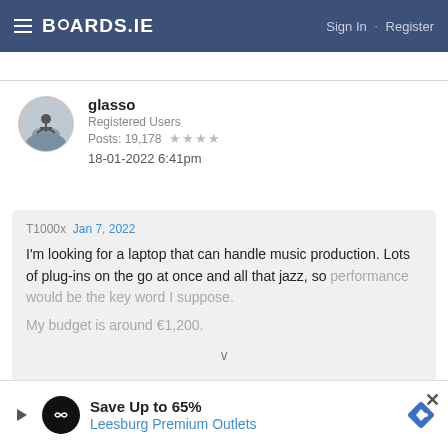BOARDS.IE  Sign In · Register
glasso
Registered Users
Posts: 19,178 ★★★★
18-01-2022 6:41pm
T1000x  Jan 7, 2022
I'm looking for a laptop that can handle music production. Lots of plug-ins on the go at once and all that jazz, so performance would be the key word I suppose.
My budget is around €1,200.
the 5800h  16gb ram 1039€ model
Save Up to 65%
Leesburg Premium Outlets